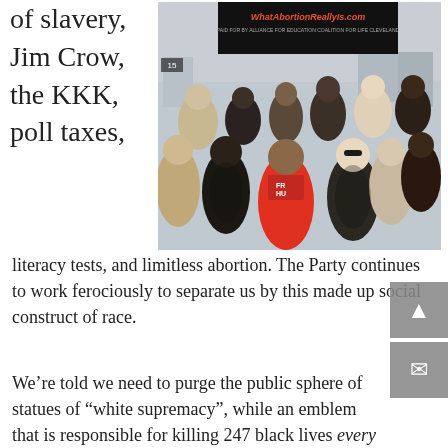of slavery, Jim Crow, the KKK, poll taxes,
[Figure (photo): Group photo of diverse people standing together outdoors in front of a billboard reading WhatAbortionReallyIs.com]
literacy tests, and limitless abortion. The Party continues to work ferociously to separate us by this made up social construct of race.
We're told we need to purge the public sphere of statues of “white supremacy”, while an emblem that is responsible for killing 247 black lives every single day is praised by the rabidly pro-abortion Left. Planned